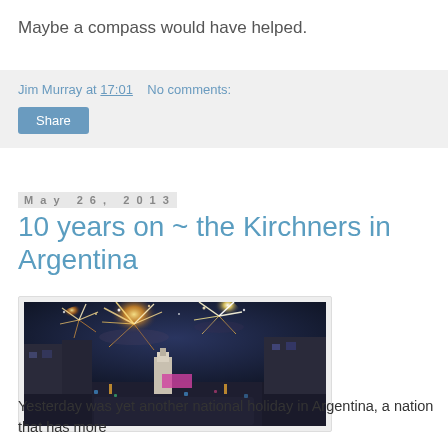Maybe a compass would have helped.
Jim Murray at 17:01    No comments:
Share
May 26, 2013
10 years on ~ the Kirchners in Argentina
[Figure (photo): Aerial night view of a crowded city square with fireworks exploding overhead, buildings lit up, large crowd gathered in streets]
Yesterday was yet another national holiday in Argentina, a nation that has more